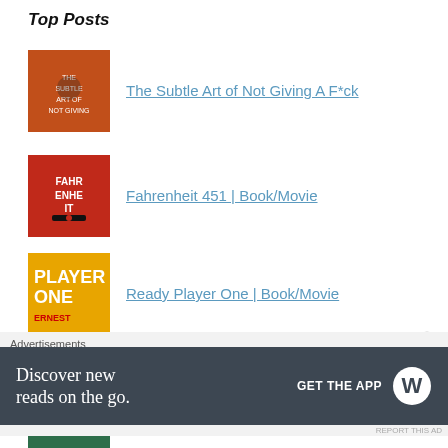Top Posts
The Subtle Art of Not Giving A F*ck
Fahrenheit 451 | Book/Movie
Ready Player One | Book/Movie
Norse Mythology
Outliers: The Story of Success
About Me
Advertisements
[Figure (infographic): WordPress 'Discover new reads on the go. GET THE APP' advertisement banner with dark background and WordPress logo]